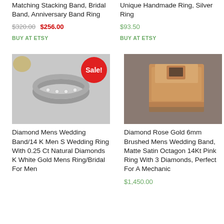Matching Stacking Band, Bridal Band, Anniversary Band Ring
$320.00 $256.00
BUY AT ETSY
Unique Handmade Ring, Silver Ring
$93.50
BUY AT ETSY
[Figure (photo): Silver diamond wedding band ring on white background with red Sale! badge]
Diamond Mens Wedding Band/14 K Men S Wedding Ring With 0.25 Ct Natural Diamonds K White Gold Mens Ring/Bridal For Men
[Figure (photo): Rose gold rectangular signet ring with diamond on gray background]
Diamond Rose Gold 6mm Brushed Mens Wedding Band, Matte Satin Octagon 14Kt Pink Ring With 3 Diamonds, Perfect For A Mechanic
$1,450.00